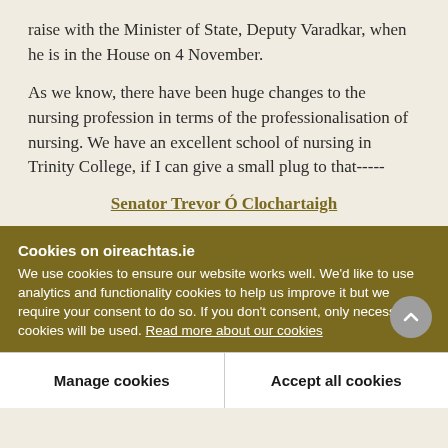raise with the Minister of State, Deputy Varadkar, when he is in the House on 4 November.
As we know, there have been huge changes to the nursing profession in terms of the professionalisation of nursing. We have an excellent school of nursing in Trinity College, if I can give a small plug to that-----
Senator Trevor Ó Clochartaigh
Cookies on oireachtas.ie
We use cookies to ensure our website works well. We'd like to use analytics and functionality cookies to help us improve it but we require your consent to do so. If you don't consent, only necessary cookies will be used. Read more about our cookies
Manage cookies
Accept all cookies